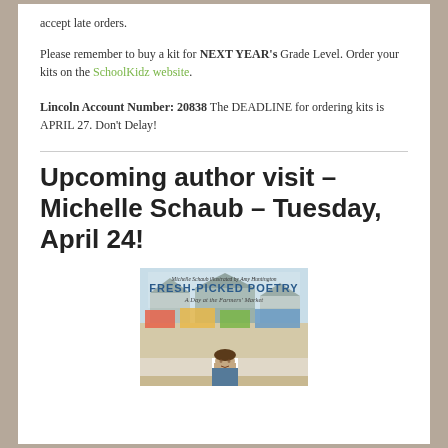accept late orders.
Please remember to buy a kit for NEXT YEAR's Grade Level. Order your kits on the SchoolKidz website.
Lincoln Account Number: 20838 The DEADLINE for ordering kits is APRIL 27. Don't Delay!
Upcoming author visit – Michelle Schaub – Tuesday, April 24!
[Figure (photo): Book cover of 'Fresh-Picked Poetry: A Day at the Farmers' Market' by Michelle Schaub, illustrated by Amy Huntington, with a person visible below the cover.]